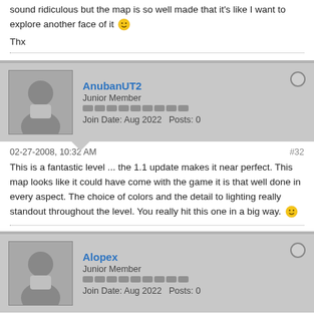sound ridiculous but the map is so well made that it's like I want to explore another face of it 😊
Thx
AnubanUT2
Junior Member
Join Date: Aug 2022   Posts: 0
02-27-2008, 10:32 AM   #32
This is a fantastic level ... the 1.1 update makes it near perfect. This map looks like it could have come with the game it is that well done in every aspect. The choice of colors and the detail to lighting really standout throughout the level. You really hit this one in a big way. 😊
Alopex
Junior Member
Join Date: Aug 2022   Posts: 0